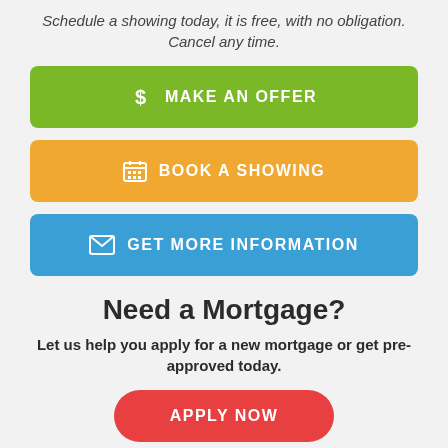Schedule a showing today, it is free, with no obligation. Cancel any time.
$ MAKE AN OFFER
BOOK A SHOWING
GET MORE INFORMATION
Need a Mortgage?
Let us help you apply for a new mortgage or get pre-approved today.
APPLY NOW